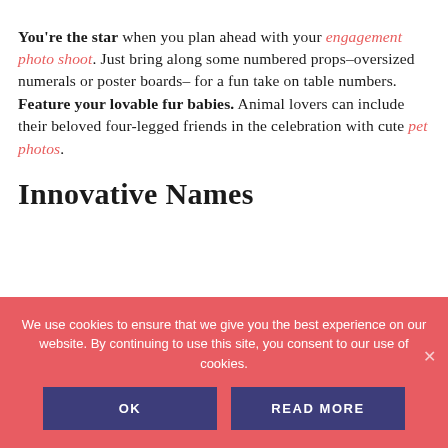You're the star when you plan ahead with your engagement photo shoot. Just bring along some numbered props–oversized numerals or poster boards– for a fun take on table numbers. Feature your lovable fur babies. Animal lovers can include their beloved four-legged friends in the celebration with cute pet photos.
Innovative Names
We use cookies to ensure that we give you the best experience on our website. By continuing to use this site, you consent to our use of cookies.
OK   READ MORE